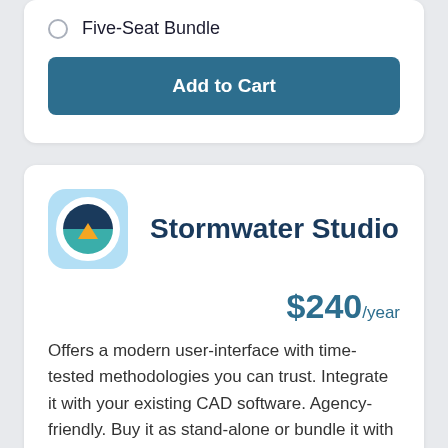Five-Seat Bundle
Add to Cart
[Figure (logo): Stormwater Studio app icon: rounded square with light blue background, circular emblem showing dark blue half-circle (water), teal lower half, and orange downward-pointing triangle (mountain/sun) in the center]
Stormwater Studio
$240/year
Offers a modern user-interface with time-tested methodologies you can trust. Integrate it with your existing CAD software. Agency-friendly. Buy it as stand-alone or bundle it with the Suite.
Download Free Trial